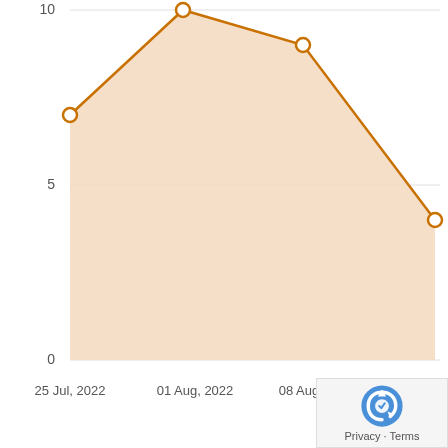[Figure (area-chart): ]
[Figure (logo): reCAPTCHA privacy badge with Privacy and Terms links]